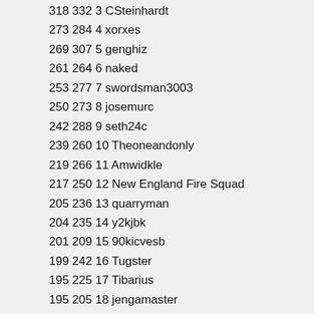318 332 3 CSteinhardt
273 284 4 xorxes
269 307 5 genghiz
261 264 6 naked
253 277 7 swordsman3003
250 273 8 josemurc
242 288 9 seth24c
239 260 10 Theoneandonly
219 266 11 Amwidkle
217 250 12 New England Fire Squad
205 236 13 quarryman
204 235 14 y2kjbk
201 209 15 90kicvesb
199 242 16 Tugster
195 225 17 Tibarius
195 205 18 jengamaster
194 194 19 chluke
190 214 20 Yoyoyozo
190 212 21 svkrls